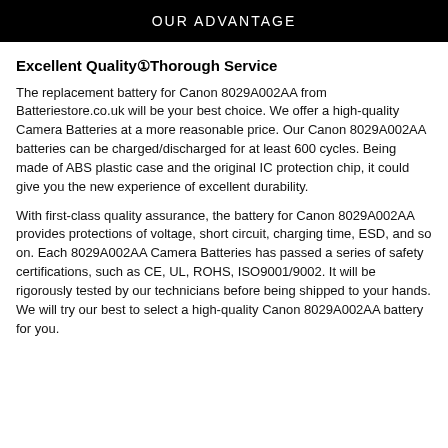OUR ADVANTAGE
Excellent Quality①Thorough Service
The replacement battery for Canon 8029A002AA from Batteriestore.co.uk will be your best choice. We offer a high-quality Camera Batteries at a more reasonable price. Our Canon 8029A002AA batteries can be charged/discharged for at least 600 cycles. Being made of ABS plastic case and the original IC protection chip, it could give you the new experience of excellent durability.
With first-class quality assurance, the battery for Canon 8029A002AA provides protections of voltage, short circuit, charging time, ESD, and so on. Each 8029A002AA Camera Batteries has passed a series of safety certifications, such as CE, UL, ROHS, ISO9001/9002. It will be rigorously tested by our technicians before being shipped to your hands. We will try our best to select a high-quality Canon 8029A002AA battery for you.